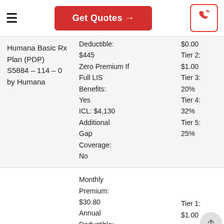Get Quotes →
| Plan Name | Details | Tiers |
| --- | --- | --- |
| Humana Basic Rx Plan (PDP) S5884 – 114 – 0 by Humana | Deductible: $445 Zero Premium If Full LIS Benefits: Yes ICL: $4,130 Additional Gap Coverage: No | $0.00 Tier 2: $1.00 Tier 3: 20% Tier 4: 32% Tier 5: 25% |
|  | Monthly Premium: $30.80 Annual Deductible: | Tier 1: $1.00 |